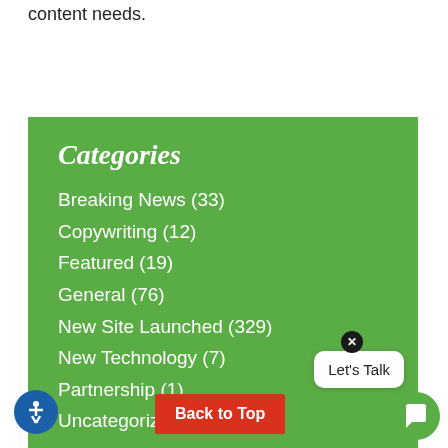content needs.
Categories
Breaking News (33)
Copywriting (12)
Featured (19)
General (76)
New Site Launched (329)
New Technology (7)
Partnership (1)
Uncategorized